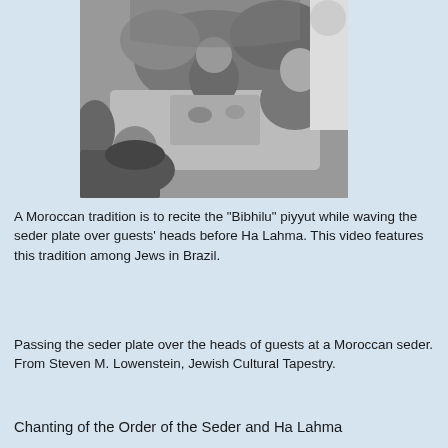[Figure (photo): Black and white photograph of people gathered around a table at a Moroccan seder, viewed from above, passing plates.]
A Moroccan tradition is to recite the "Bibhilu" piyyut while waving the seder plate over guests' heads before Ha Lahma. This video features this tradition among Jews in Brazil.
Passing the seder plate over the heads of guests at a Moroccan seder. From Steven M. Lowenstein, Jewish Cultural Tapestry.
Chanting of the Order of the Seder and Ha Lahma
[Figure (screenshot): Audio player widget showing 'Order of seder a...' track with play button, progress bar, time -01:04, and expand arrow button.]
Introduction to the Four Sons in